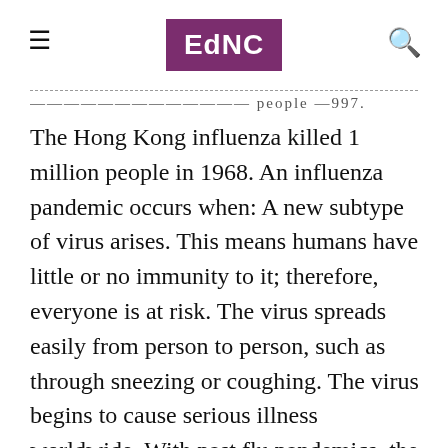EdNC
— people —997.
The Hong Kong influenza killed 1 million people in 1968. An influenza pandemic occurs when: A new subtype of virus arises. This means humans have little or no immunity to it; therefore, everyone is at risk. The virus spreads easily from person to person, such as through sneezing or coughing. The virus begins to cause serious illness worldwide. With past flu pandemics, the virus reached all parts of the globe within six to nine months. With the speed of air travel today, public health